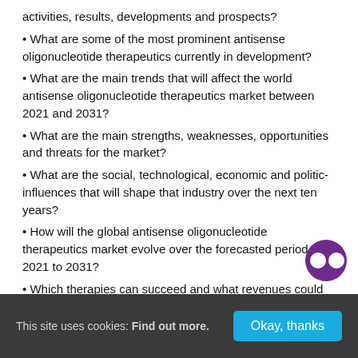activities, results, developments and prospects?
• What are some of the most prominent antisense oligonucleotide therapeutics currently in development?
• What are the main trends that will affect the world antisense oligonucleotide therapeutics market between 2021 and 2031?
• What are the main strengths, weaknesses, opportunities and threats for the market?
• What are the social, technological, economic and political influences that will shape that industry over the next ten years?
• How will the global antisense oligonucleotide therapeutics market evolve over the forecasted period, 2021 to 2031?
• Which therapies can succeed and what revenues could they generate to 2031?
This site uses cookies: Find out more.